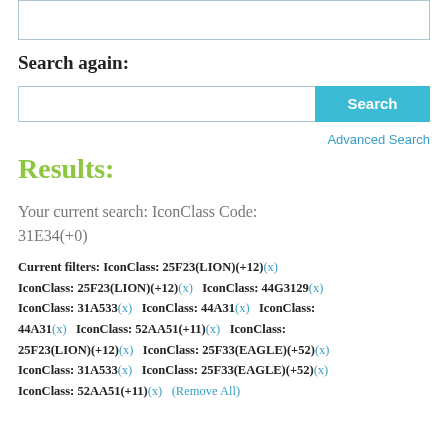[Figure (screenshot): Top portion of a search input box, partially visible at the top of the page]
Search again:
[Figure (screenshot): Search input field with a teal 'Search' button on the right]
Advanced Search
Results:
Your current search: IconClass Code: 31E34(+0)
Current filters: IconClass: 25F23(LION)(+12)(x) IconClass: 25F23(LION)(+12)(x)   IconClass: 44G3129(x) IconClass: 31A533(x)   IconClass: 44A31(x)   IconClass: 44A31(x)   IconClass: 52AA51(+11)(x)   IconClass: 25F23(LION)(+12)(x)   IconClass: 25F33(EAGLE)(+52)(x) IconClass: 31A533(x)   IconClass: 25F33(EAGLE)(+52)(x) IconClass: 52AA51(+11)(x)   (Remove All)